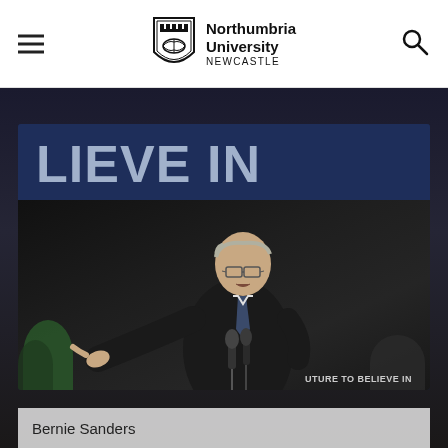[Figure (logo): Northumbria University Newcastle shield logo with crest]
Northumbria University NEWCASTLE
[Figure (photo): Bernie Sanders speaking at a campaign rally at a podium with microphones, banner reading 'LIEVE IN' (part of 'A FUTURE TO BELIEVE IN') visible in background, pointing with his left hand, grey hair, dark suit, crowd visible behind him]
Bernie Sanders